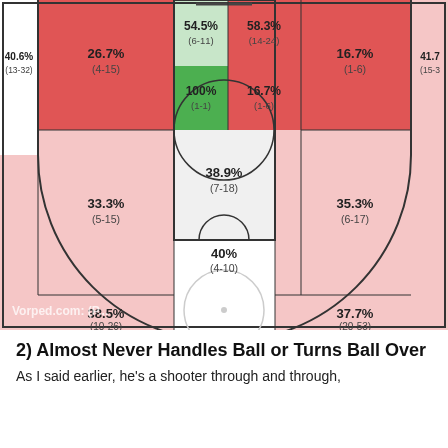[Figure (other): Basketball shot chart showing shooting percentages by court zone. Zones colored red (below average), pink (slightly below), white (average), and green (above average). Zones: top-left corner 40.6% (13-32), left wing 26.7% (4-15), left center 54.5% (6-11), right center 58.3% (14-24), right wing 16.7% (1-6), top-right corner 41.7% (15-?), left mid-range 33.3% (5-15), left paint top 100% (1-1), right paint top 16.7% (1-6), right mid-range 35.3% (6-17), center paint 38.9% (7-18), left baseline 38.5% (10-26), center baseline 40% (4-10), right baseline 37.7% (20-53). Watermark: Vorped.com (P...]
2) Almost Never Handles Ball or Turns Ball Over
As I said earlier, he's a shooter through and through,